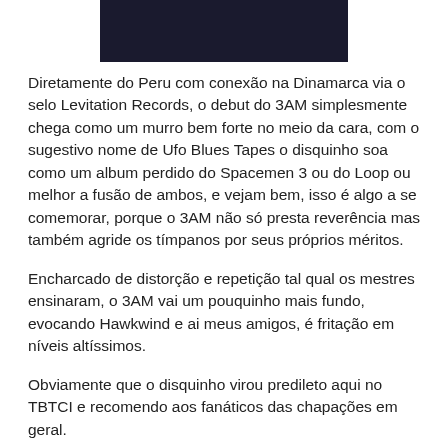[Figure (photo): Dark photo of a performer or concert scene, partially visible at the top of the page]
Diretamente do Peru com conexão na Dinamarca via o selo Levitation Records, o debut do 3AM simplesmente chega como um murro bem forte no meio da cara, com o sugestivo nome de Ufo Blues Tapes o disquinho soa como um album perdido do Spacemen 3 ou do Loop ou melhor a fusão de ambos, e vejam bem, isso é algo a se comemorar, porque o 3AM não só presta reverência mas também agride os tímpanos por seus próprios méritos.
Encharcado de distorção e repetição tal qual os mestres ensinaram, o 3AM vai um pouquinho mais fundo, evocando Hawkwind e ai meus amigos, é fritação em níveis altíssimos.
Obviamente que o disquinho virou predileto aqui no TBTCI e recomendo aos fanáticos das chapações em geral.
Pegue sua bebida predileta, coloque em alto e bom som o Ufo Blues Tapes e curta o 3AM.